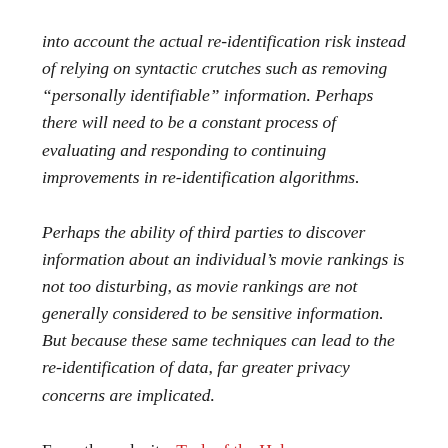into account the actual re-identification risk instead of relying on syntactic crutches such as removing “personally identifiable” information. Perhaps there will need to be a constant process of evaluating and responding to continuing improvements in re-identification algorithms.
Perhaps the ability of third parties to discover information about an individual’s movie rankings is not too disturbing, as movie rankings are not generally considered to be sensitive information. But because these same techniques can lead to the re-identification of data, far greater privacy concerns are implicated.
From the web site, Tech of the Hub: